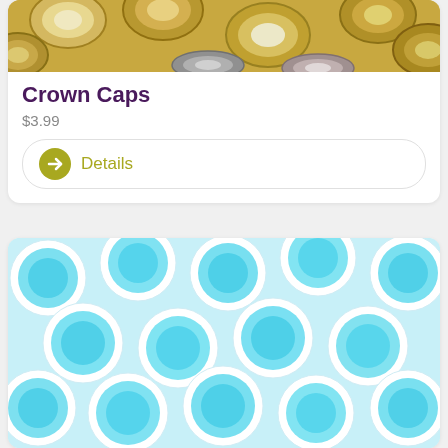[Figure (photo): Photo of metallic gold/bronze crown bottle caps piled together]
Crown Caps
$3.99
Details
[Figure (photo): Photo of white and light blue plastic bottle caps piled together, viewed from above showing the hollow interiors]